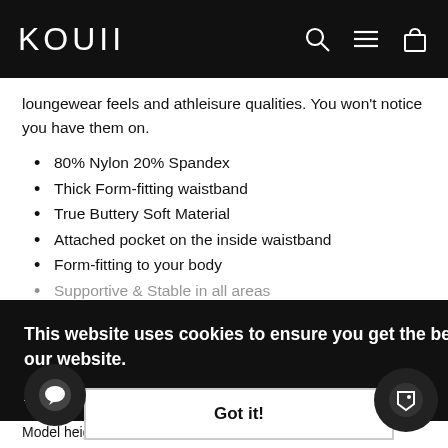KOUII
loungewear feels and athleisure qualities. You won't notice you have them on.
80% Nylon 20% Spandex
Thick Form-fitting waistband
True Buttery Soft Material
Attached pocket on the inside waistband
Form-fitting to your body
Supportive & Stable in all areas
Squat Proof
This website uses cookies to ensure you get the best experience on our website.
Learn More
2XS-2(XS-L)(S-A)(M=B)(L=D)(XL=D)
Size model is wearing: Small
Model height: 5' 2"
Got it!